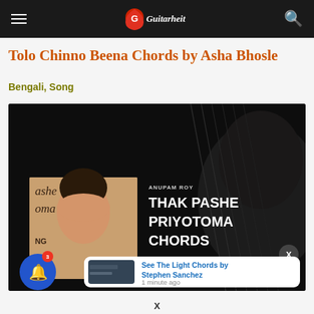GuitHub navigation bar
Tolo Chinno Beena Chords by Asha Bhosle
Bengali, Song
[Figure (screenshot): Main image showing guitar background with embedded card showing ANUPAM ROY THAK PASHE PRIYOTOMA CHORDS text and a woman photo overlay]
See The Light Chords by Stephen Sanchez
1 minute ago